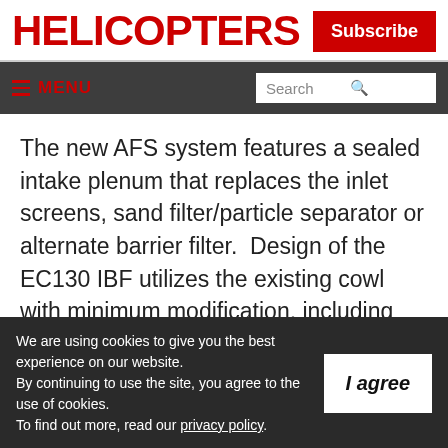HELICOPTERS
Subscribe
≡ MENU | Search
The new AFS system features a sealed intake plenum that replaces the inlet screens, sand filter/particle separator or alternate barrier filter.  Design of the EC130 IBF utilizes the existing cowl with minimum modification, including incorporation of an aft-facing bypass
We are using cookies to give you the best experience on our website.
By continuing to use the site, you agree to the use of cookies.
To find out more, read our privacy policy.
I agree